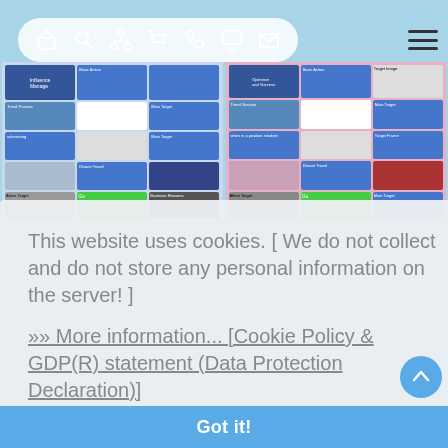[Figure (screenshot): Website screenshot showing navigation bar with home, search, sitemap, cart, phone, chat, mail icons on light blue background, with two side-by-side app/website screenshots below]
This website uses cookies. [ We do not collect and do not store any personal information on the server! ]
»» More information... [Cookie Policy & GDP(R) statement (Data Protection Declaration)]
Got it!